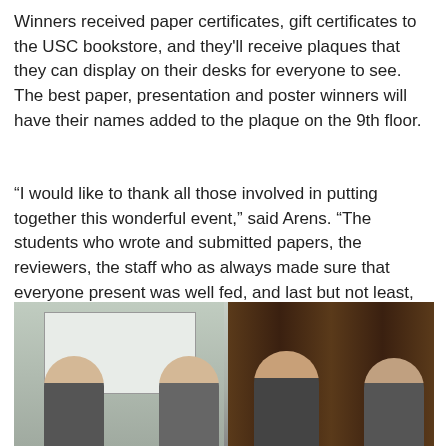Winners received paper certificates, gift certificates to the USC bookstore, and they'll receive plaques that they can display on their desks for everyone to see. The best paper, presentation and poster winners will have their names added to the plaque on the 9th floor.
“I would like to thank all those involved in putting together this wonderful event,” said Arens. “The students who wrote and submitted papers, the reviewers, the staff who as always made sure that everyone present was well fed, and last but not least, Jason Riesa, Wes Kerr, and Steve DeNeefe (from left, below,) who worked hard to organize it.”
[Figure (photo): A group photo of four people (from left: Jason Riesa, Wes Kerr, Steve DeNeefe, and one more person) standing together. The left half shows a light-colored wall with a whiteboard, the right half shows a dark wood-paneled door. People visible from approximately the shoulders up.]